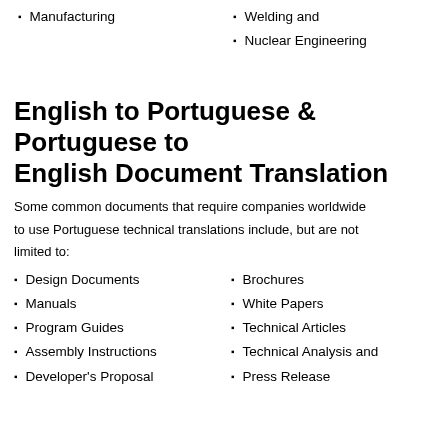Manufacturing
Welding and
Nuclear Engineering
English to Portuguese & Portuguese to English Document Translation
Some common documents that require companies worldwide to use Portuguese technical translations include, but are not limited to:
Design Documents
Brochures
Manuals
White Papers
Program Guides
Technical Articles
Assembly Instructions
Technical Analysis and
Developer's Proposal
Press Release